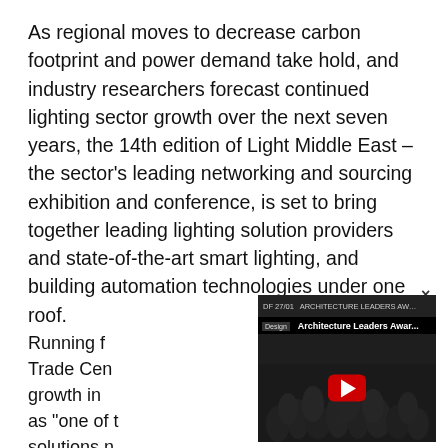As regional moves to decrease carbon footprint and power demand take hold, and industry researchers forecast continued lighting sector growth over the next seven years, the 14th edition of Light Middle East – the sector's leading networking and sourcing exhibition and conference, is set to bring together leading lighting solution providers and state-of-the-art smart lighting, and building automation technologies under one roof.
Running f... Trade Cen... growth in... as "one of t... solutions n... forecasted... firm Redse...
[Figure (screenshot): YouTube video overlay showing 'Design Architecture Leaders Awar...' with a crowd of people in a group photo, a red YouTube play button in the center, and a close (×) button in the top-right corner.]